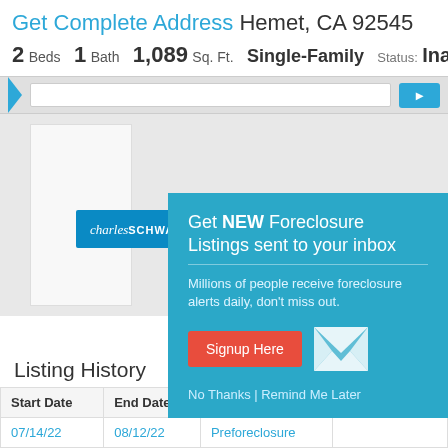Get Complete Address Hemet, CA 92545
2 Beds  1 Bath  1,089 Sq. Ft.  Single-Family  Status: Inact
[Figure (screenshot): Website navigation bar with blue arrow tab and blue button on right]
[Figure (screenshot): Blurred property detail content area with Charles Schwab advertisement banner]
[Figure (infographic): Popup modal: Get NEW Foreclosure Listings sent to your inbox. Millions of people receive foreclosure alerts daily, don't miss out. Signup Here button. No Thanks | Remind Me Later links. Envelope icon.]
Listing History
| Start Date | End Date | Listing Type | Bank Name |
| --- | --- | --- | --- |
| 07/14/22 | 08/12/22 | Preforeclosure |  |